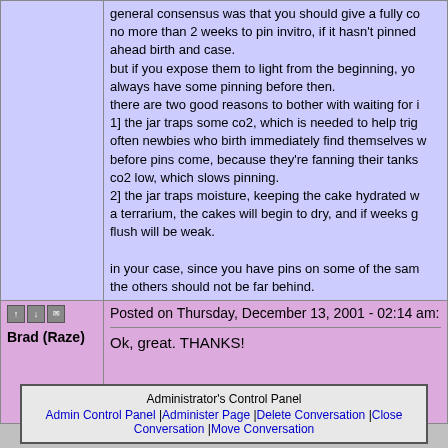general consensus was that you should give a fully colonized cake no more than 2 weeks to pin invitro, if it hasn't pinned ahead birth and case. but if you expose them to light from the beginning, you'll always have some pinning before then. there are two good reasons to bother with waiting for it: 1] the jar traps some co2, which is needed to help trig... often newbies who birth immediately find themselves w... before pins come, because they're fanning their tanks... co2 low, which slows pinning. 2] the jar traps moisture, keeping the cake hydrated w... a terrarium, the cakes will begin to dry, and if weeks g... flush will be weak. in your case, since you have pins on some of the sam... the others should not be far behind.
Posted on Thursday, December 13, 2001 - 02:14 am:
Brad (Raze)
Ok, great. THANKS!
I can feel the excitement building inside me.... mwuah...
Administrator's Control Panel
Admin Control Panel |Administer Page |Delete Conversation |Close Conversation |Move Conversation